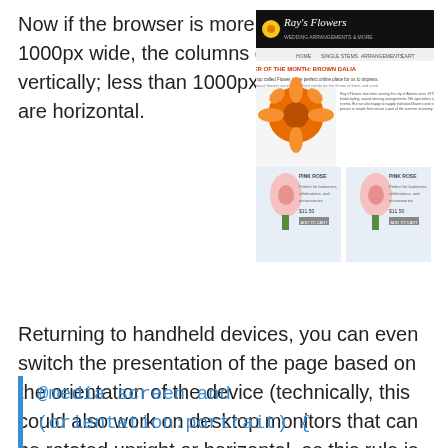Now if the browser is more than 1000px wide, the columns display vertically; less than 1000px, they are horizontal.
[Figure (screenshot): Screenshot of a flower shop website called Ray's Flowers showing a responsive layout with navigation, a featured flower of the month (orange flower), descriptive text, and two pink rose product listings.]
Returning to handheld devices, you can even switch the presentation of the page based on the orientation of the device (technically, this could also work on desktop monitors that can be rotated upright or horizontal, as this rule is also supported in the latest desktop versions of browsers);